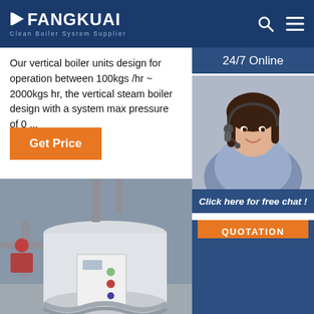FANGKUAI Clean Boiler System Supplier
Our vertical boiler units design for operation between 100kgs /hr ~ 2000kgs hr, the vertical steam boiler design with a system max pressure of 0 ...
Get Price
24/7 Online
[Figure (photo): Woman with headset smiling, representing 24/7 customer support agent]
Click here for free chat !
QUOTATION
[Figure (photo): Vertical steam boiler unit with pipes, valves, and control panel in an industrial setting]
TOP